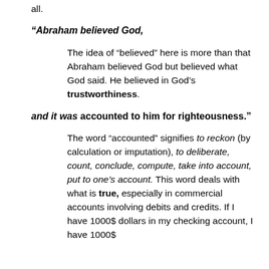all.
“Abraham believed God,
The idea of “believed” here is more than that Abraham believed God but believed what God said. He believed in God’s trustworthiness.
and it was accounted to him for righteousness.”
The word “accounted” signifies to reckon (by calculation or imputation), to deliberate, count, conclude, compute, take into account, put to one’s account. This word deals with what is true, especially in commercial accounts involving debits and credits. If I have 1000$ dollars in my checking account, I have 1000$